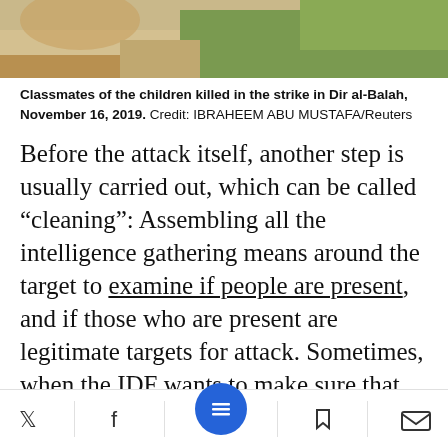[Figure (photo): Top portion of a photo showing classmates of children killed in a strike, with hands and plants visible]
Classmates of the children killed in the strike in Dir al-Balah, November 16, 2019.  Credit: IBRAHEEM ABU MUSTAFA/Reuters
Before the attack itself, another step is usually carried out, which can be called “cleaning”: Assembling all the intelligence gathering means around the target to examine if people are present, and if those who are present are legitimate targets for attack. Sometimes, when the IDF wants to make sure that no civilians are present there, or when for its own reasons decides not to kill the activists who are there, various warning actions are conducted,
Twitter | Facebook | Menu | Bookmark | Email